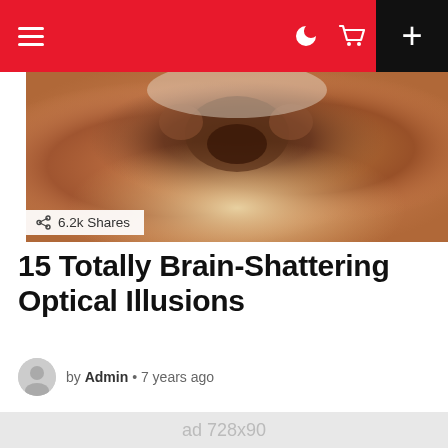Navigation bar with hamburger menu, moon icon, cart icon, and plus button
[Figure (photo): Close-up photo of an animal (dog or bear) with brown/orange fur, blurred background, partial face visible]
6.2k Shares
15 Totally Brain-Shattering Optical Illusions
by Admin • 7 years ago
[Figure (other): Advertisement placeholder block - ad 728x90]